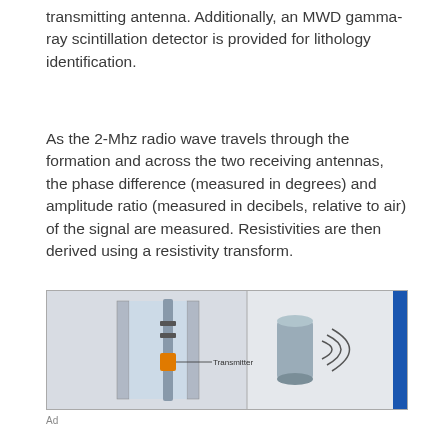transmitting antenna. Additionally, an MWD gamma-ray scintillation detector is provided for lithology identification.
As the 2-Mhz radio wave travels through the formation and across the two receiving antennas, the phase difference (measured in degrees) and amplitude ratio (measured in decibels, relative to air) of the signal are measured. Resistivities are then derived using a resistivity transform.
[Figure (engineering-diagram): Engineering diagram showing a borehole resistivity tool cross-section on the left with a Transmitter labeled, and a cylindrical sensor with radio wave arcs on the right, with a blue vertical bar on the far right edge.]